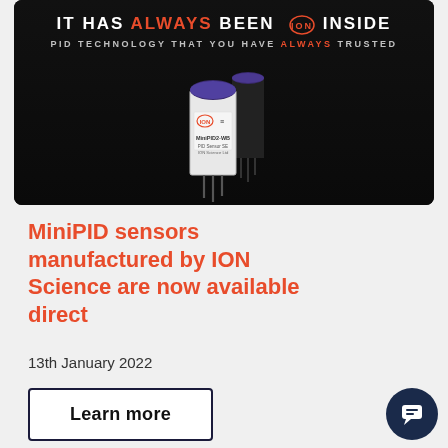[Figure (photo): Dark background banner image showing ION Science MiniPID2-WB sensor with text 'IT HAS ALWAYS BEEN ION INSIDE' and 'PID TECHNOLOGY THAT YOU HAVE ALWAYS TRUSTED'. A cylindrical PID sensor is shown prominently in the center.]
MiniPID sensors manufactured by ION Science are now available direct
13th January 2022
Learn more